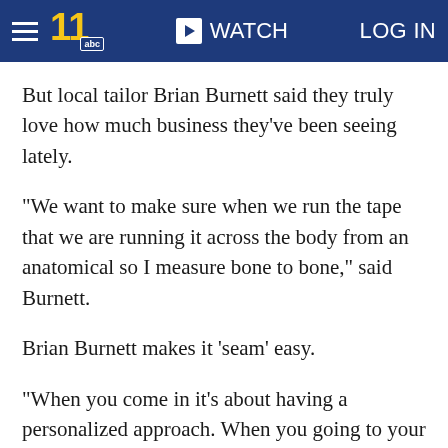WATCH   LOG IN
But local tailor Brian Burnett said they truly love how much business they've been seeing lately.
"We want to make sure when we run the tape that we are running it across the body from an anatomical so I measure bone to bone," said Burnett.
Brian Burnett makes it 'seam' easy.
"When you come in it's about having a personalized approach. When you going to your wedding tailor, you want to make sure they have the time and detail," he said.
He is so ded...